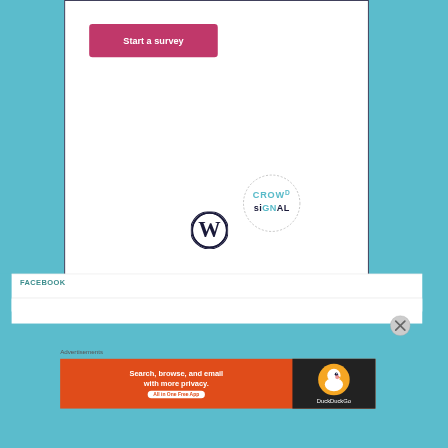[Figure (screenshot): Screenshot of a web page showing a survey plugin interface with a 'Start a survey' button on a white card over a teal background, WordPress and Crowdsignal logos at bottom of card, a Facebook section heading below, and a DuckDuckGo advertisement banner at the bottom with 'Search, browse, and email with more privacy. All in One Free App' text.]